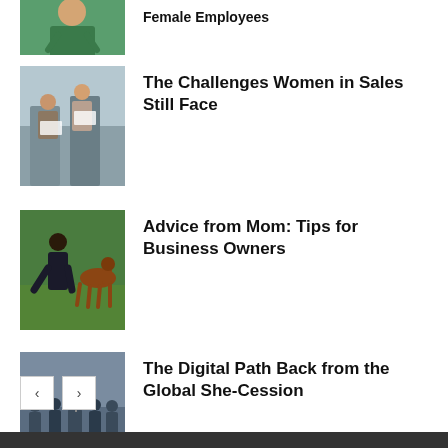[Figure (photo): Woman in green dress with arms crossed, partial view at top]
Female Employees
[Figure (photo): Two women in an office setting looking at documents]
The Challenges Women in Sales Still Face
[Figure (photo): Woman in dark clothing with a horse in green field]
Advice from Mom: Tips for Business Owners
[Figure (photo): Protest crowd with person holding a sign, city street]
The Digital Path Back from the Global She-Cession
← →